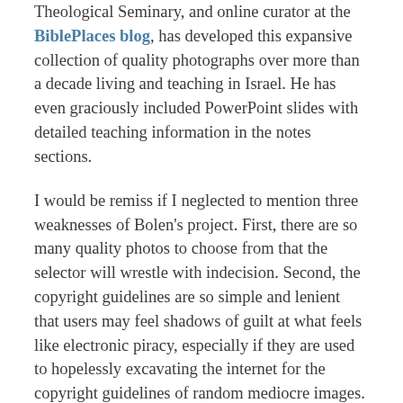Theological Seminary, and online curator at the BiblePlaces blog, has developed this expansive collection of quality photographs over more than a decade living and teaching in Israel. He has even graciously included PowerPoint slides with detailed teaching information in the notes sections.
I would be remiss if I neglected to mention three weaknesses of Bolen's project. First, there are so many quality photos to choose from that the selector will wrestle with indecision. Second, the copyright guidelines are so simple and lenient that users may feel shadows of guilt at what feels like electronic piracy, especially if they are used to hopelessly excavating the internet for the copyright guidelines of random mediocre images. Third, at times the included PowerPoint notes are comprehensive enough to tempt users not to study the material for themselves. These present real challenges the consumer will need to consider.